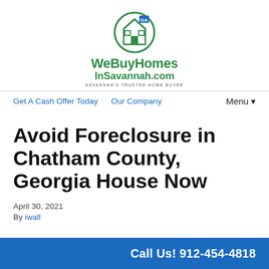[Figure (logo): WeBuyHomesInSavannah.com logo with green house icon in a circle and tagline 'Savannah's Trusted Home Buyer']
Get A Cash Offer Today   Our Company   Menu▾
Avoid Foreclosure in Chatham County, Georgia House Now
April 30, 2021
By iwall
Call Us! 912-454-4818